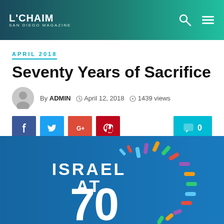L'CHAIM SAN DIEGO MAGAZINE
APRIL 2018
Seventy Years of Sacrifice
By ADMIN  April 12, 2018  1439 views
[Figure (illustration): Israel at 70 logo with colorful fireworks burst on a teal/blue background, showing large white text 'ISRAEL AT 70']